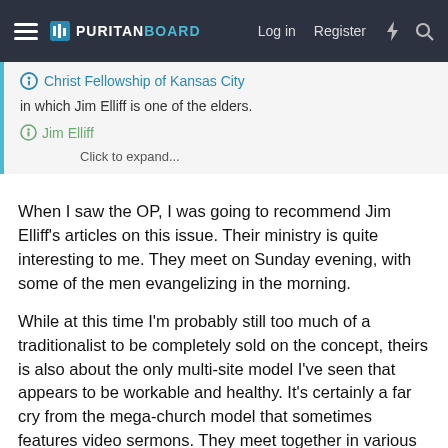PURITAN BOARD — Log in  Register
Christ Fellowship of Kansas City
in which Jim Elliff is one of the elders.
Jim Elliff
Click to expand...
When I saw the OP, I was going to recommend Jim Elliff's articles on this issue. Their ministry is quite interesting to me. They meet on Sunday evening, with some of the men evangelizing in the morning.
While at this time I'm probably still too much of a traditionalist to be completely sold on the concept, theirs is also about the only multi-site model I've seen that appears to be workable and healthy. It's certainly a far cry from the mega-church model that sometimes features video sermons. They meet together in various homes in the KC area, each one under the leadership